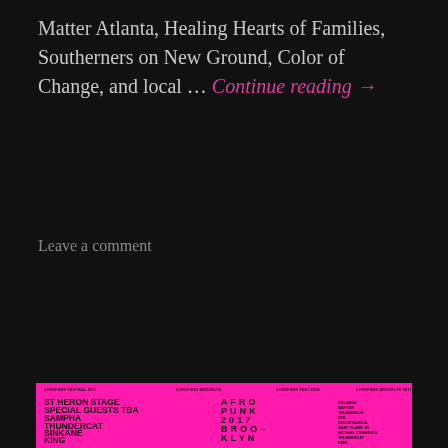Matter Atlanta, Healing Hearts of Families, Southerners on New Ground, Color of Change, and local … Continue reading →
Leave a comment
[Figure (infographic): Afropunk 2017 Brooklyn August 26-27 festival poster with pink background and black bold text listing artists including ST HERON STAGE, SPECIAL GUESTS TBA, SAMPHA, THUNDERCAT, SINKANE, KING, GARY CLARK JR, MICHAEL KIWANUKA, SOUL II SOUL, DIZZEE RASCAL, SZA and more]